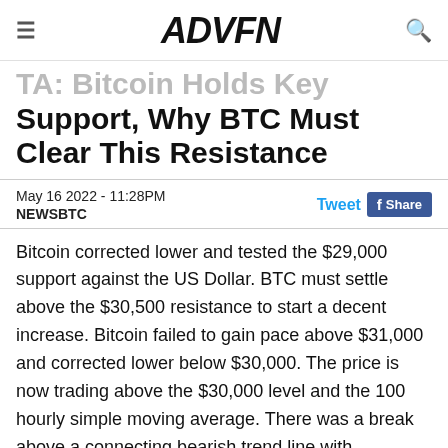ADVFN
Bitcoin Holds Key Support, Why BTC Must Clear This Resistance
May 16 2022 - 11:28PM
NEWSBTC
Bitcoin corrected lower and tested the $29,000 support against the US Dollar. BTC must settle above the $30,500 resistance to start a decent increase. Bitcoin failed to gain pace above $31,000 and corrected lower below $30,000. The price is now trading above the $30,000 level and the 100 hourly simple moving average. There was a break above a connecting bearish trend line with resistance near $29,600 on the hourly chart of the BTC/USD pair (data feed from Kraken). The pair could gain bullish momentum